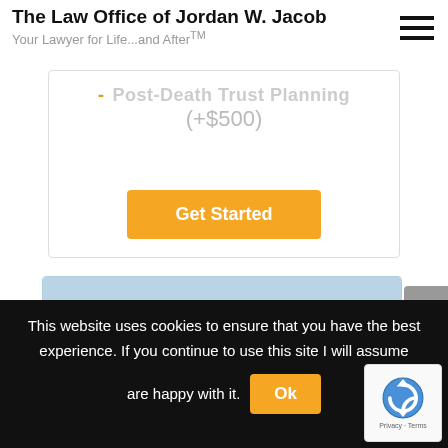The Law Office of Jordan W. Jacob
Your Lawyer for Life...and After™
- Post-Death Trust Planning (+$500)
Get Started
FAMILY WILL
for married couples with or without kids
This website uses cookies to ensure that you have the best experience. If you continue to use this site I will assume are happy with it. Ok